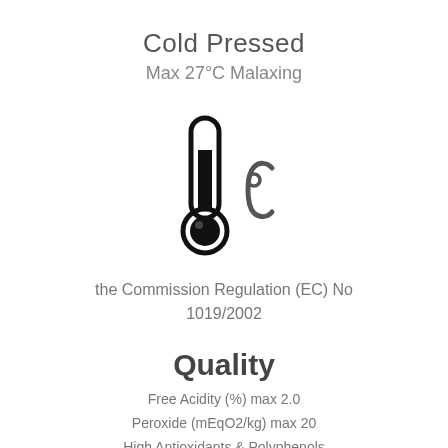Cold Pressed
Max 27°C Malaxing
[Figure (illustration): Thermometer icon with °C symbol indicating temperature measurement]
the Commission Regulation (EC) No 1019/2002
Quality
Free Acidity (%) max 2.0
Peroxide (mEqO2/kg) max 20
High Antioxidants & Polyphenols